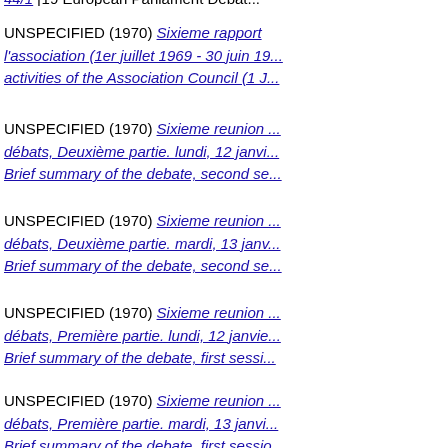UNSPECIFIED (1970) Sixieme rapport ... l'association (1er juillet 1969 - 30 juin 19... activities of the Association Council (1 J...
UNSPECIFIED (1970) Sixieme reunion ... débats, Deuxième partie. lundi, 12 janvi... Brief summary of the debate, second se...
UNSPECIFIED (1970) Sixieme reunion ... débats, Deuxième partie. mardi, 13 janv... Brief summary of the debate, second se...
UNSPECIFIED (1970) Sixieme reunion ... débats, Première partie. lundi, 12 janvie... Brief summary of the debate, first sessi...
UNSPECIFIED (1970) Sixieme reunion ... débats, Première partie. mardi, 13 janvi... Brief summary of the debate, first sessio...
UNSPECIFIED (1970) Sixieme reunion ... débats. mercredi, 14 janvier 1970 = Sixt... of the debate, Wednesday 14, January 1...